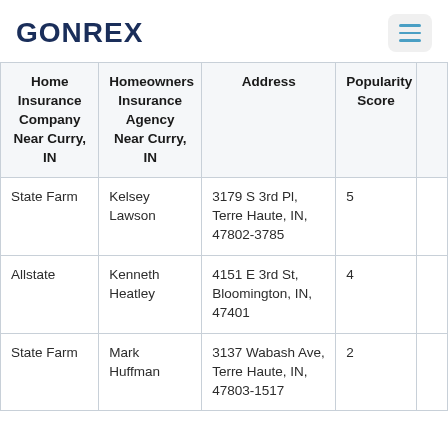GONREX
| Home Insurance Company Near Curry, IN | Homeowners Insurance Agency Near Curry, IN | Address | Popularity Score |  |
| --- | --- | --- | --- | --- |
| State Farm | Kelsey Lawson | 3179 S 3rd Pl, Terre Haute, IN, 47802-3785 | 5 |  |
| Allstate | Kenneth Heatley | 4151 E 3rd St, Bloomington, IN, 47401 | 4 |  |
| State Farm | Mark Huffman | 3137 Wabash Ave, Terre Haute, IN, 47803-1517 | 2 |  |